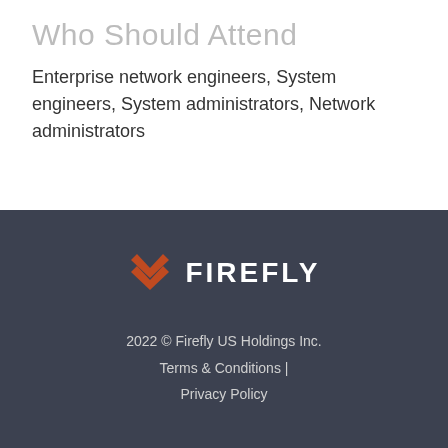Who Should Attend
Enterprise network engineers, System engineers, System administrators, Network administrators
[Figure (logo): Firefly logo with orange chevron/wing icon and white FIREFLY wordmark on dark background]
2022 © Firefly US Holdings Inc. Terms & Conditions | Privacy Policy